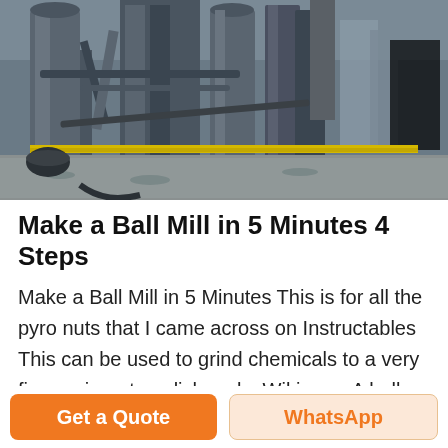[Figure (photo): Industrial facility with large metal pipes, towers, silos, and yellow safety railings. Heavy machinery and industrial equipment visible. Grey overcast sky.]
Make a Ball Mill in 5 Minutes 4 Steps
Make a Ball Mill in 5 Minutes This is for all the pyro nuts that I came across on Instructables This can be used to grind chemicals to a very fine grain or to polish rocks.Wiki says A ball mill is a type of grinder used to grind materials into extremely fine powder